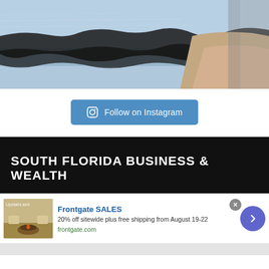[Figure (photo): Water surface with reflection of a dock or pier edge; aerial or close-up view showing water, dark shoreline, and sandy/rocky ground]
Follow on Instagram
SOUTH FLORIDA BUSINESS & WEALTH
[Figure (advertisement): Frontgate SALES advertisement showing outdoor furniture with a fire pit. Ad text: 'Frontgate SALES', '20% off sitewide plus free shipping from August 19-22', 'frontgate.com'. Has close button and navigation arrow.]